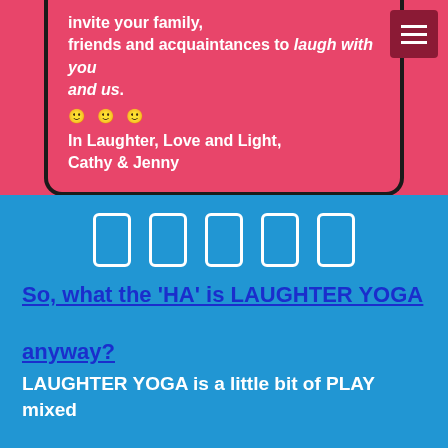[Figure (screenshot): A phone screen showing text on a pink/red background with a hamburger menu icon in the top right]
invite your family, friends and acquaintances to laugh with you and us.
🙂🙂🙂
In Laughter, Love and Light, Cathy & Jenny
[Figure (infographic): Five social media icon outlines (rectangular icons) displayed in a row on a blue background]
So, what the 'HA' is LAUGHTER YOGA anyway?
LAUGHTER YOGA is a little bit of PLAY mixed with LAUGHTER that provides you with an amazing AEROBIC